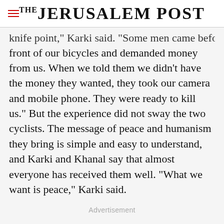THE JERUSALEM POST
...knife point, Karki said. Some men came before front of our bicycles and demanded money from us. When we told them we didn't have the money they wanted, they took our camera and mobile phone. They were ready to kill us." But the experience did not sway the two cyclists. The message of peace and humanism they bring is simple and easy to understand, and Karki and Khanal say that almost everyone has received them well. "What we want is peace," Karki said.
Advertisement